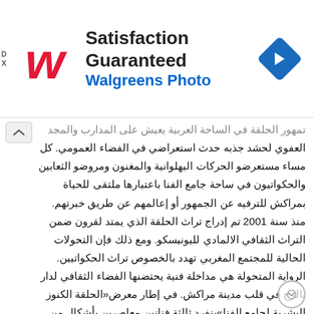[Figure (logo): Walgreens advertisement banner with red W logo, 'Satisfaction Guaranteed' text, 'Walgreens Photo' subtitle, and blue diamond arrow icon]
تمهور الحلقة في الساحة العربية يعيش على المدارب والمجد العفوي لحشد جذبه حدث استعراضي في الفضاء العمومي. كل مساء مستعرضو الحركات البهلوانية والمغنون ومروضو الثعابين والحكواتيون في ساحة جامع الفنا باعتبارها ملتقى للحياة بمراكش للترفيه عن الجمهور أو إعالمهم عن طريق خبرتهم. منذ سنة 2001 تم إدراج تراث الحلقة الذي يمتد لقرون ضمن التراث الثقافي الالمادي لليونيسكو. ومع ذلك فإن التحولات الحالية للمجتمع المغربي تهدد بالخصوص تراث الحكواتيين. الرواية المتحولة هي مداخلة فنية يحتضنها الفضاء الثقافي لدار بالرج في قلب مدينة مراكش. في إطار معرض«الحلقة الكنوز البشرية لجامع الفنا»ينفرد ثالثة فنانين معاصرين بأشكال من التعبير الشفوي بنقلهم وتحولهم لمنظور بالعديد من الممارسات الفنية. تدور الألعمال التي تم إعدادها بشكل خاص لهذه المناسبة حول الحلقة حيث أنها تسلط الضوء حسب وجهات نظر مختلفة على التراث الشفهي المغربي للرواية. عروض وحوارات ومنحوتة صوتية ت حول الفناء والطايق الألول من دار بالرج إلى ساحة يومية ومكان لمواجهة نقدية بين تعابير معاصرة مختلفة للفنون الحية. يتمثل اختفاء الفنون البصرية في القرن العشرين في أشكال مختلفة في الفن الغربي. لقد بابلو بيكاسو